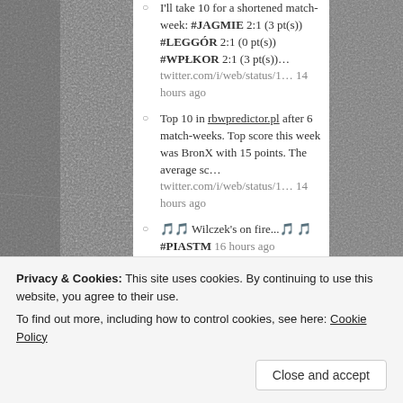[Figure (photo): Black and white photograph of stadium crowd on the left side background]
[Figure (photo): Black and white photograph of stadium crowd on the right side background]
I'll take 10 for a shortened match-week: #JAGMIE 2:1 (3 pt(s)) #LEGGÓR 2:1 (0 pt(s)) #WPŁKOR 2:1 (3 pt(s))… twitter.com/i/web/status/1… 14 hours ago
Top 10 in rbwpredictor.pl after 6 match-weeks. Top score this week was BronX with 15 points. The average sc… twitter.com/i/web/status/1… 14 hours ago
🎵🎵 Wilczek's on fire...🎵🎵 #PIASTM 16 hours ago
@Garm1981 https://t.co/ezYnhSNXrE 17 hours ago
Follow @rightbankwarsaw
BLOGS ABOUT POLAND IN ENGLISH
Notes from Poland
Privacy & Cookies: This site uses cookies. By continuing to use this website, you agree to their use.
To find out more, including how to control cookies, see here: Cookie Policy